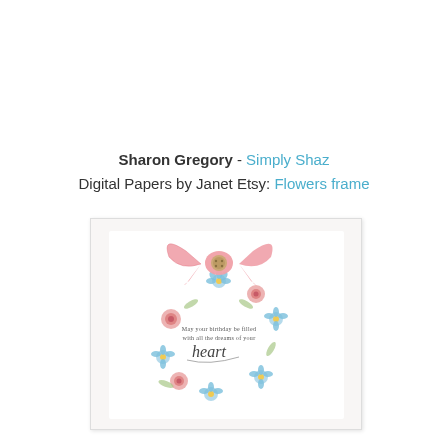Sharon Gregory - Simply Shaz
Digital Papers by Janet Etsy: Flowers frame
[Figure (photo): A handmade greeting card featuring a circular flower wreath frame with blue and pink flowers, a pink gingham ribbon bow with a brown button center at the top, and cursive text inside reading 'May your birthday be filled with all the dreams of your heart'. Watermarks visible: The Shabby Tea Co and Sharon Gregory.]